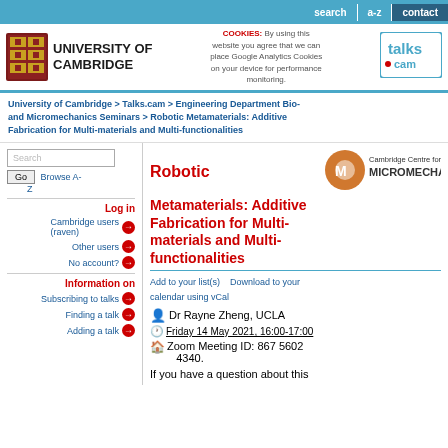search   a-z   contact
[Figure (logo): University of Cambridge crest and wordmark logo]
COOKIES: By using this website you agree that we can place Google Analytics Cookies on your device for performance monitoring.
[Figure (logo): talks.cam logo]
University of Cambridge > Talks.cam > Engineering Department Bio- and Micromechanics Seminars > Robotic Metamaterials: Additive Fabrication for Multi-materials and Multi-functionalities
Search
Go  Browse A-Z
Log in
Cambridge users (raven)
Other users
No account?
Information on
Subscribing to talks
Finding a talk
Adding a talk
Robotic Metamaterials: Additive Fabrication for Multi-materials and Multi-functionalities
[Figure (logo): Cambridge Centre for Micromechanics logo]
Add to your list(s)    Download to your calendar using vCal
Dr Rayne Zheng, UCLA
Friday 14 May 2021, 16:00-17:00
Zoom Meeting ID: 867 5602 4340.
If you have a question about this